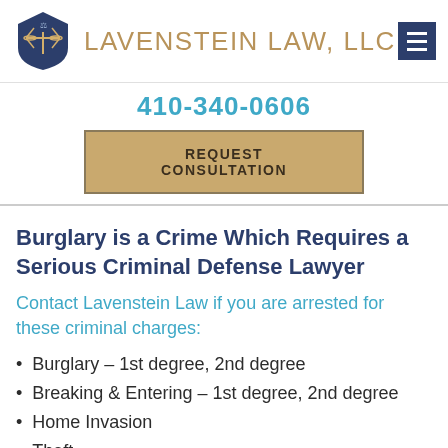LAVENSTEIN LAW, LLC
410-340-0606
REQUEST CONSULTATION
Burglary is a Crime Which Requires a Serious Criminal Defense Lawyer
Contact Lavenstein Law if you are arrested for these criminal charges:
Burglary – 1st degree, 2nd degree
Breaking & Entering – 1st degree, 2nd degree
Home Invasion
Theft
Grand Theft